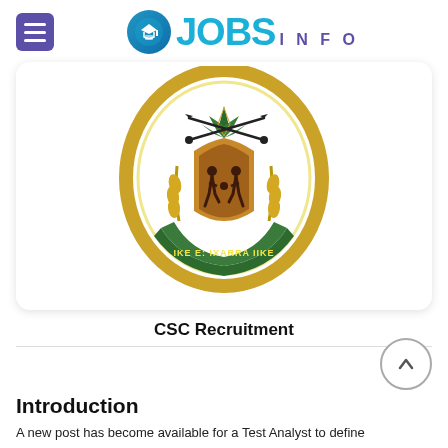JOBS INFO
[Figure (logo): South African coat of arms / government crest with the motto IKE E: IXARRA IIKE, showing two figures, wheat stalks, spears, and a protea flower on top, surrounded by a golden oval border on a green banner.]
CSC Recruitment
Introduction
A new post has become available for a Test Analyst to define